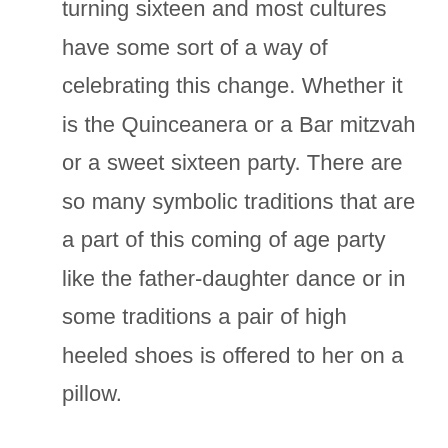turning sixteen and most cultures have some sort of a way of celebrating this change. Whether it is the Quinceanera or a Bar mitzvah or a sweet sixteen party. There are so many symbolic traditions that are a part of this coming of age party like the father-daughter dance or in some traditions a pair of high heeled shoes is offered to her on a pillow. So the Sweet 16 represents a period in a teenager's life when she inevitably shifts into young adulthood. Thought to have